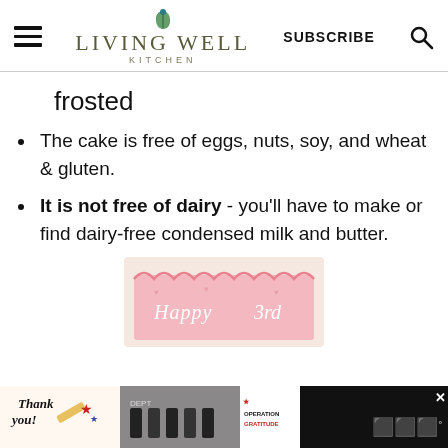Living Well Kitchen - SUBSCRIBE
frosted
The cake is free of eggs, nuts, soy, and wheat & gluten.
It is not free of dairy - you'll have to make or find dairy-free condensed milk and butter.
[Figure (photo): Photo of a pink frosted cake with 'Happy 3rd' written in white frosting]
[Figure (photo): Advertisement banner: Thank you message with Operation Gratitude and firefighters image]